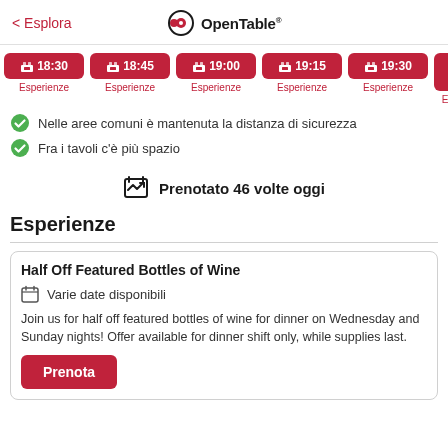< Esplora | OpenTable
18:30 Esperienze
18:45 Esperienze
19:00 Esperienze
19:15 Esperienze
19:30 Esperienze
Nelle aree comuni è mantenuta la distanza di sicurezza
Fra i tavoli c'è più spazio
Prenotato 46 volte oggi
Esperienze
Half Off Featured Bottles of Wine
Varie date disponibili
Join us for half off featured bottles of wine for dinner on Wednesday and Sunday nights! Offer available for dinner shift only, while supplies last.
Prenota